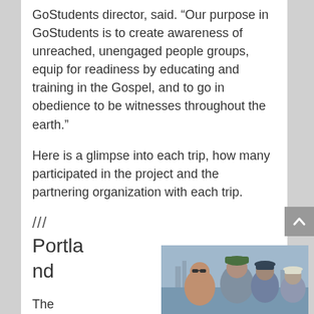GoStudents director, said. “Our purpose in GoStudents is to create awareness of unreached, unengaged people groups, equip for readiness by educating and training in the Gospel, and to go in obedience to be witnesses throughout the earth.”
Here is a glimpse into each trip, how many participated in the project and the partnering organization with each trip.
///
Portland
The
[Figure (photo): Group of people outdoors near water, wearing hats and sunglasses, appearing to be at a mission trip location]